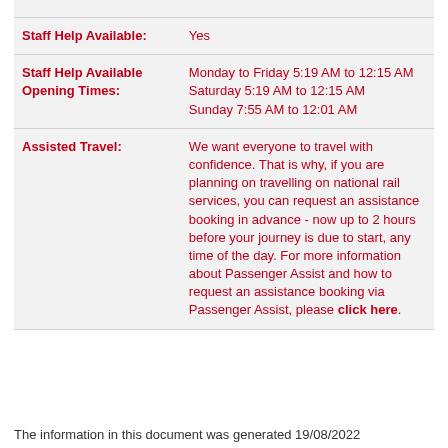| Staff Help Available: | Yes |
| Staff Help Available Opening Times: | Monday to Friday 5:19 AM to 12:15 AM
Saturday 5:19 AM to 12:15 AM
Sunday 7:55 AM to 12:01 AM |
| Assisted Travel: | We want everyone to travel with confidence. That is why, if you are planning on travelling on national rail services, you can request an assistance booking in advance - now up to 2 hours before your journey is due to start, any time of the day. For more information about Passenger Assist and how to request an assistance booking via Passenger Assist, please click here. |
The information in this document was generated 19/08/2022